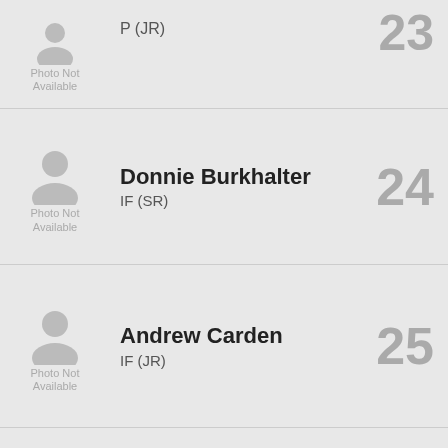[Figure (other): Photo Not Available placeholder icon for player #23 (P JR), top partial row]
P (JR)
23
[Figure (other): Photo Not Available placeholder icon for Donnie Burkhalter]
Donnie Burkhalter
IF (SR)
24
[Figure (other): Photo Not Available placeholder icon for Andrew Carden]
Andrew Carden
IF (JR)
25
[Figure (other): Photo Not Available placeholder icon for Mark Henry]
Mark Henry
IF (JR)
26